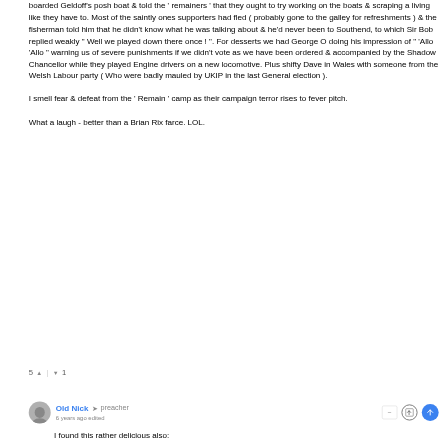boarded Geldoff's posh boat & told the ' remainers ' that they ought to try working on the boats & scraping a living like they have to. Most of the saintly ones supporters had fled ( probably gone to the galley for refreshments ) & the fisherman told him that he didn't know what he was talking about & he'd never been to Southend, to which Sir Bob replied weakly " Well we played down there once ! ". For desserts we had George O doing his impression of " 'Allo 'Allo " warning us of severe punishments if we didn't vote as we have been ordered & accompanied by the Shadow Chancellor while they played Engine drivers on a new locomotive. Plus shifty Dave in Wales with someone from the Welsh Labour party ( Who were badly mauled by UKIP in the last General election ). I smell fear & defeat from the ' Remain ' camp as their campaign terror rises to fever pitch. What a laugh - better than a Brian Rix farce. LOL.
5 ▲ | ▼ 1
Old Nick → preacher 6 years ago edited
I found this rather delicious also: